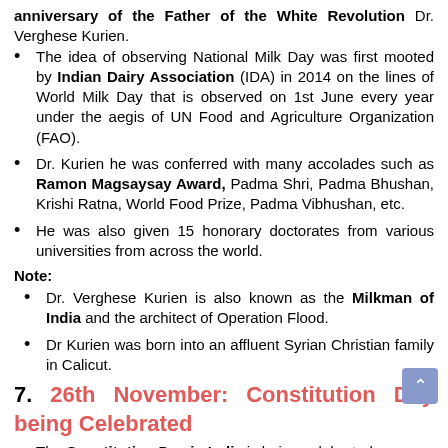anniversary of the Father of the White Revolution Dr. Verghese Kurien.
The idea of observing National Milk Day was first mooted by Indian Dairy Association (IDA) in 2014 on the lines of World Milk Day that is observed on 1st June every year under the aegis of UN Food and Agriculture Organization (FAO).
Dr. Kurien he was conferred with many accolades such as Ramon Magsaysay Award, Padma Shri, Padma Bhushan, Krishi Ratna, World Food Prize, Padma Vibhushan, etc.
He was also given 15 honorary doctorates from various universities from across the world.
Note:
Dr. Verghese Kurien is also known as the Milkman of India and the architect of Operation Flood.
Dr Kurien was born into an affluent Syrian Christian family in Calicut.
7. 26th November: Constitution Day being Celebrated
The Constitution Day in India is being celebrated